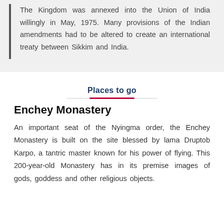The Kingdom was annexed into the Union of India willingly in May, 1975. Many provisions of the Indian amendments had to be altered to create an international treaty between Sikkim and India.
Places to go
Enchey Monastery
An important seat of the Nyingma order, the Enchey Monastery is built on the site blessed by lama Druptob Karpo, a tantric master known for his power of flying. This 200-year-old Monastery has in its premise images of gods, goddess and other religious objects.